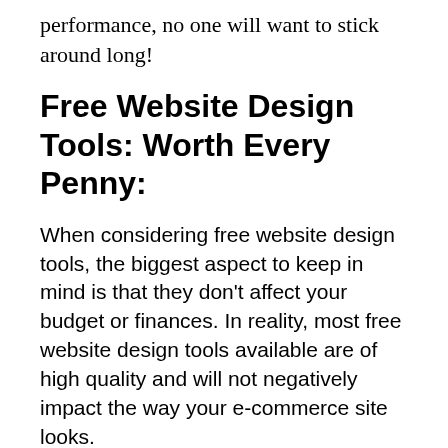performance, no one will want to stick around long!
Free Website Design Tools: Worth Every Penny:
When considering free website design tools, the biggest aspect to keep in mind is that they don't affect your budget or finances. In reality, most free website design tools available are of high quality and will not negatively impact the way your e-commerce site looks.
Visit SEOTools.LeadWD.com to access 50+ free SEO tools for your use. We're happy to provide them at no cost to